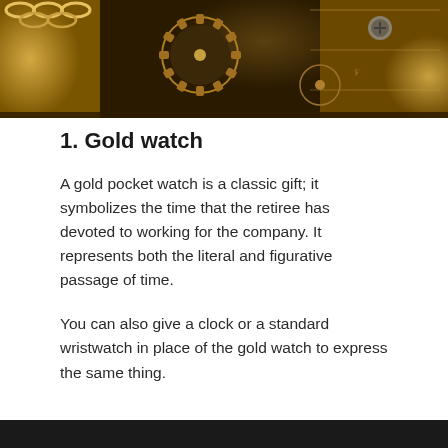[Figure (photo): Close-up photograph of a gold pocket watch mechanism showing gears, screws, and ornate gold details of the watch movement]
1. Gold watch
A gold pocket watch is a classic gift; it symbolizes the time that the retiree has devoted to working for the company. It represents both the literal and figurative passage of time.
You can also give a clock or a standard wristwatch in place of the gold watch to express the same thing.
[Figure (photo): Bottom portion of another photograph, appears dark/black at the very bottom of the page]